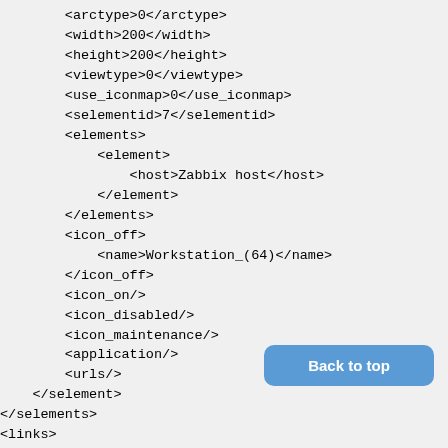<arctype>0</arctype>
<width>200</width>
<height>200</height>
<viewtype>0</viewtype>
<use_iconmap>0</use_iconmap>
<selementid>7</selementid>
<elements>
    <element>
        <host>Zabbix host</host>
    </element>
</elements>
<icon_off>
    <name>Workstation_(64)</name>
</icon_off>
<icon_on/>
<icon_disabled/>
<icon_maintenance/>
<application/>
<urls/>
</selement>
</selements>
<links>
    <link>
        <drawtype>0</drawtype>
        <color>008800</color>
        <label/>
        <selementid1>6</selementid1>
        <selementid2>0</selementid2>
[Figure (other): Back to top button (blue rounded rectangle)]